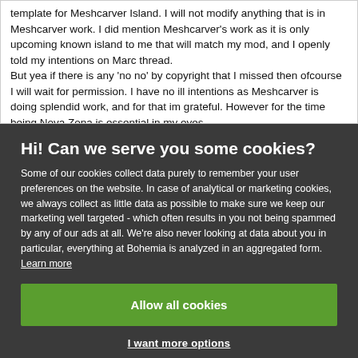template for Meshcarver Island. I will not modify anything that is in Meshcarver work. I did mention Meshcarver's work as it is only upcoming known island to me that will match my mod, and I openly told my intentions on Marc thread.
But yea if there is any 'no no' by copyright that I missed then ofcourse I will wait for permission. I have no ill intentions as Meshcarver is doing splendid work, and for that im grateful. However for the time being Nova Zona is essential in my eyes.
Hi! Can we serve you some cookies?
Some of our cookies collect data purely to remember your user preferences on the website. In case of analytical or marketing cookies, we always collect as little data as possible to make sure we keep our marketing well targeted - which often results in you not being spammed by any of our ads at all. We're also never looking at data about you in particular, everything at Bohemia is analyzed in an aggregated form. Learn more
Allow all cookies
I want more options